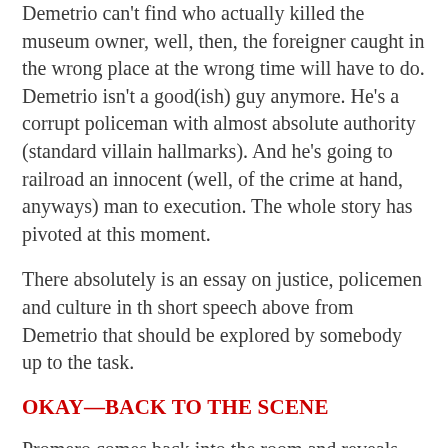Demetrio can't find who actually killed the museum owner, well, then, the foreigner caught in the wrong place at the wrong time will have to do. Demetrio isn't a good(ish) guy anymore. He's a corrupt policeman with almost absolute authority (standard villain hallmarks). And he's going to railroad an innocent (well, of the crime at hand, anyways) man to execution. The whole story has pivoted at this moment.
There absolutely is an essay on justice, policemen and culture in th short speech above from Demetrio that should be explored by somebody up to the task.
OKAY—BACK TO THE SCENE
Promero comes back into the room and reveals the Bowl bears the mark of the Stygian sorcerer, Thoth-amon. The master of the dark arts had obviously sent some deadly horror to kill Kalenthes, his enemy, and